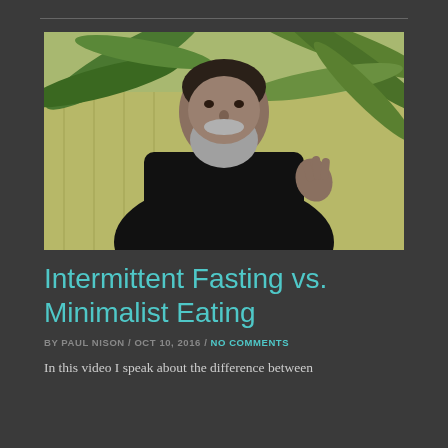[Figure (photo): A bearded man with a gray beard wearing a black shirt, gesturing with his right hand, standing in front of palm trees and a wooden fence outdoors.]
Intermittent Fasting vs. Minimalist Eating
BY PAUL NISON / OCT 10, 2016 / NO COMMENTS
In this video I speak about the difference between